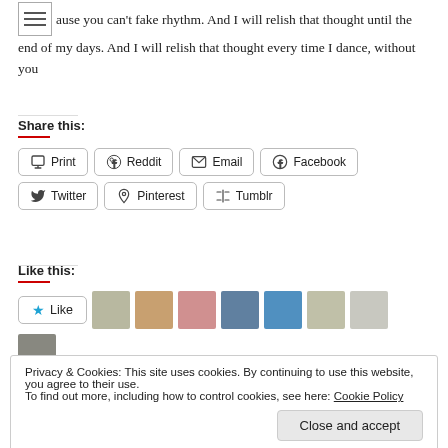ause you can't fake rhythm. And I will relish that thought until the end of my days. And I will relish that thought every time I dance, without you
Share this:
Print
Reddit
Email
Facebook
Twitter
Pinterest
Tumblr
Like this:
8 bloggers like this.
Privacy & Cookies: This site uses cookies. By continuing to use this website, you agree to their use. To find out more, including how to control cookies, see here: Cookie Policy